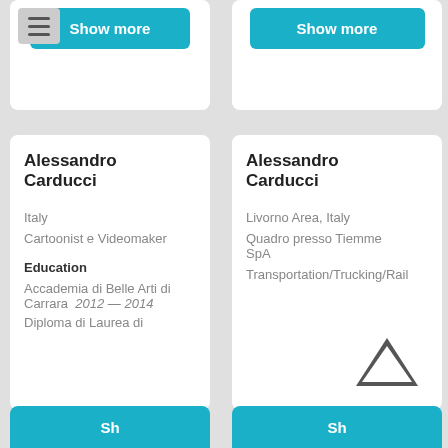Show more
Show more
Alessandro Carducci
Italy
Cartoonist e Videomaker
Education
Accademia di Belle Arti di Carrara   2012 — 2014
Diploma di Laurea di
Alessandro Carducci
Livorno Area, Italy
Quadro presso Tiemme SpA
Transportation/Trucking/Rail
[Figure (illustration): Upward chevron arrow icon]
Sh…
Sh…